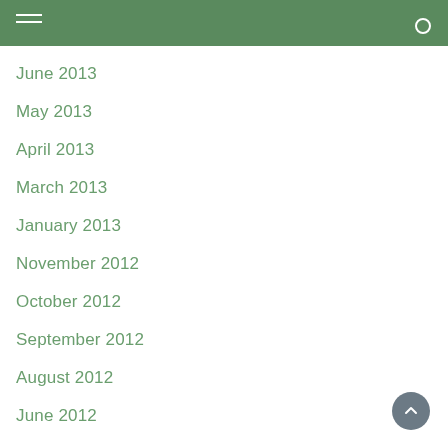June 2013
May 2013
April 2013
March 2013
January 2013
November 2012
October 2012
September 2012
August 2012
June 2012